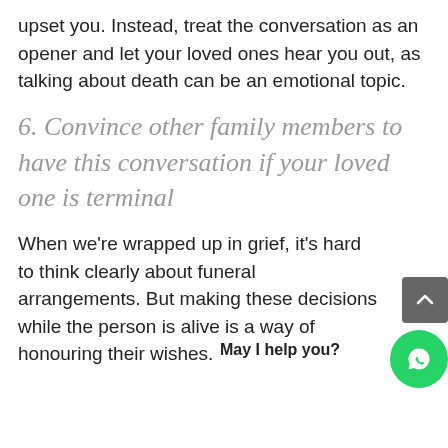upset you. Instead, treat the conversation as an opener and let your loved ones hear you out, as talking about death can be an emotional topic.
6. Convince other family members to have this conversation if your loved one is terminal
When we're wrapped up in grief, it's hard to think clearly about funeral arrangements. But making these decisions while the person is alive is a way of honouring their wishes.